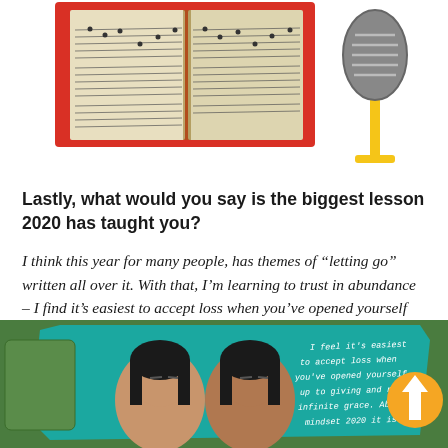[Figure (photo): Photo collage: open music score/sheet music book on red background on left, vintage microphone on yellow stand on right]
Lastly, what would you say is the biggest lesson 2020 has taught you?
I think this year for many people, has themes of “letting go” written all over it. With that, I’m learning to trust in abundance – I find it’s easiest to accept loss when you’ve opened yourself up to giving and receiving infinite grace. Abundance mindset 2020 it is!
[Figure (photo): Photo collage at bottom: two women with closed eyes on green grass background, teal torn paper overlay with handwritten text quote about accepting loss and abundance mindset, orange circle with white upward arrow on right]